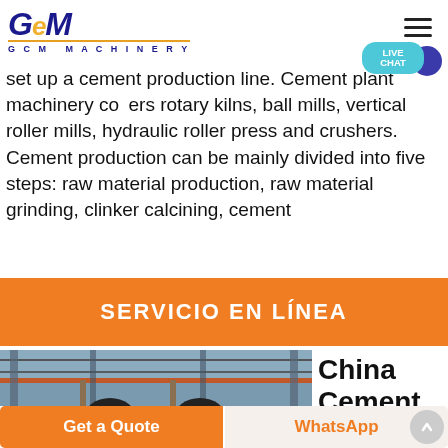GCM MACHINERY
set up a cement production line. Cement plant machinery covers rotary kilns, ball mills, vertical roller mills, hydraulic roller press and crushers. Cement production can be mainly divided into five steps: raw material production, raw material grinding, clinker calcining, cement
SERVICIO EN LÍNEA
[Figure (photo): Industrial cement plant machinery interior showing large equipment, pipes and structural steel]
China Cement
Get a Quote
WhatsApp